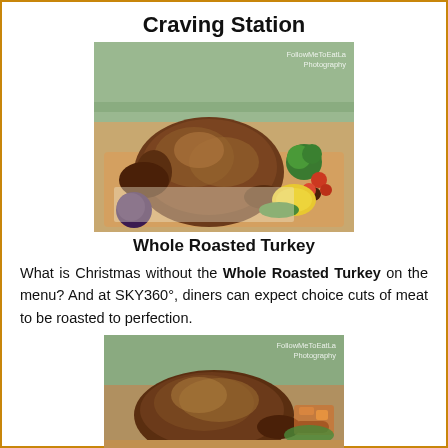Craving Station
[Figure (photo): Whole roasted turkey on a wooden board surrounded by vegetables including broccoli, cherry tomatoes, and lemon slices. Watermark: FollowMeToEatLa Photography]
Whole Roasted Turkey
What is Christmas without the Whole Roasted Turkey on the menu? And at SKY360°, diners can expect choice cuts of meat to be roasted to perfection.
[Figure (photo): Close-up of another whole roasted turkey with vegetables and sides visible. Watermark: FollowMeToEatLa Photography]